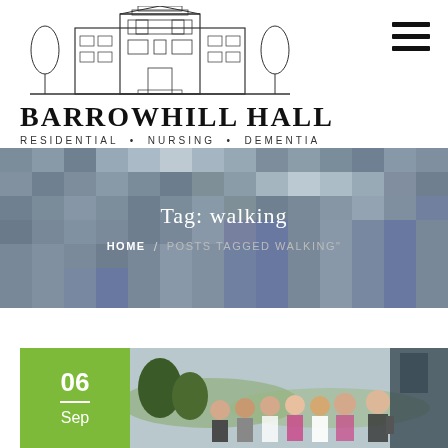[Figure (logo): Barrowhill Hall building illustration logo with line-art of a grand manor house]
BARROWHILL HALL
RESIDENTIAL · NURSING · DEMENTIA
[Figure (photo): Blurred/pixelated outdoor photo of a building used as hero banner background]
Tag: walking
HOME / POSTS TAGGED WALKING"
[Figure (photo): Group of elderly people walking outdoors, smiling, with hills in background]
06
—
Sep